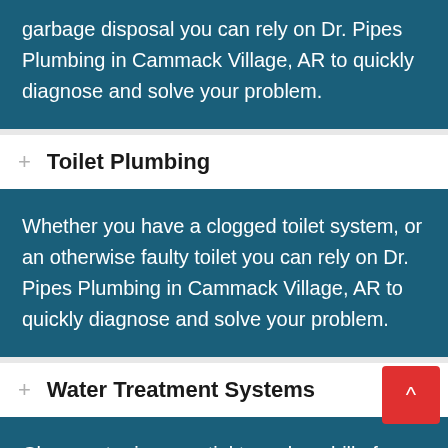garbage disposal you can rely on Dr. Pipes Plumbing in Cammack Village, AR to quickly diagnose and solve your problem.
Toilet Plumbing
Whether you have a clogged toilet system, or an otherwise faulty toilet you can rely on Dr. Pipes Plumbing in Cammack Village, AR to quickly diagnose and solve your problem.
Water Treatment Systems
Clean water is essential to a clean bill of health and not to mention good hygiene.